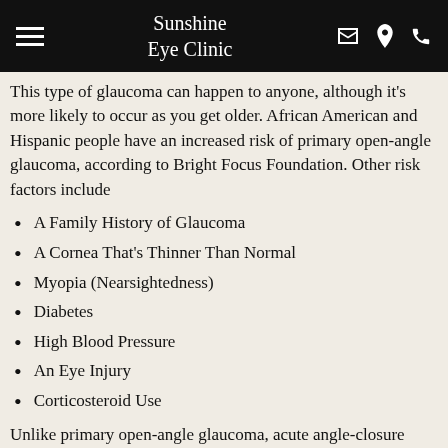Sunshine Eye Clinic
This type of glaucoma can happen to anyone, although it's more likely to occur as you get older. African American and Hispanic people have an increased risk of primary open-angle glaucoma, according to Bright Focus Foundation. Other risk factors include
A Family History of Glaucoma
A Cornea That's Thinner Than Normal
Myopia (Nearsightedness)
Diabetes
High Blood Pressure
An Eye Injury
Corticosteroid Use
Unlike primary open-angle glaucoma, acute angle-closure glaucoma causes immediate, noticeable symptoms, including severe pain, nausea, vomiting, blurry vision,